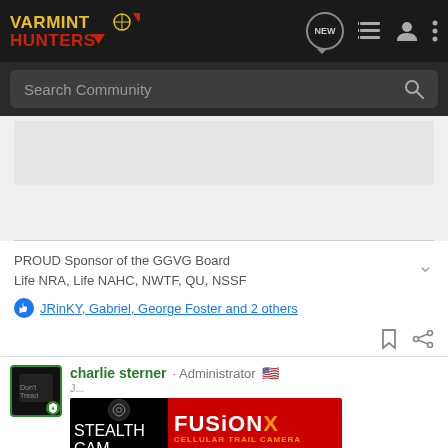[Figure (screenshot): Varmint Hunters forum website navigation bar with logo, search bar, and forum post content]
VARMINT HUNTERS
Search Community
PROUD Sponsor of the GGVG Board
Life NRA, Life NAHC, NWTF, QU, NSSF
JRinKY, Gabriel, George Foster and 2 others
charlie sterner · Administrator
[Figure (photo): Fusion X Cellular Trail Camera advertisement banner by Stealth Cam]
#39 An